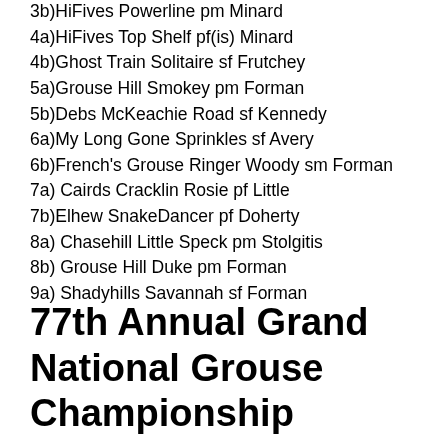3b)HiFives Powerline pm Minard
4a)HiFives Top Shelf pf(is) Minard
4b)Ghost Train Solitaire sf Frutchey
5a)Grouse Hill Smokey pm Forman
5b)Debs McKeachie Road sf Kennedy
6a)My Long Gone Sprinkles sf Avery
6b)French's Grouse Ringer Woody sm Forman
7a) Cairds Cracklin Rosie pf Little
7b)Elhew SnakeDancer pf Doherty
8a) Chasehill Little Speck pm Stolgitis
8b) Grouse Hill Duke pm Forman
9a) Shadyhills Savannah sf Forman
77th Annual Grand National Grouse Championship